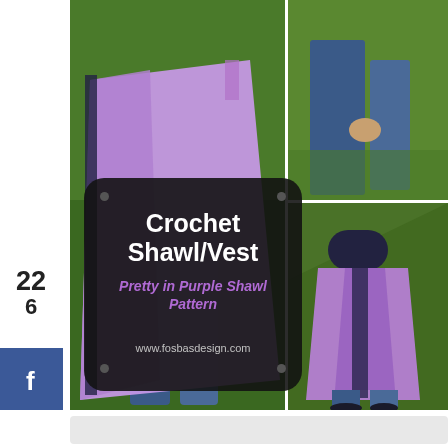[Figure (photo): Collage of three photos showing a person wearing a lavender/purple crochet shawl/vest outdoors on green grass. Left photo: front-side view of person wearing the purple crocheted shawl with dark stripe. Top right: close-up of person's waist/hands area wearing blue jeans. Bottom right: back view of person wearing the purple crochet shawl/vest with dark collar on green grass slope.]
Crochet Shawl/Vest
Pretty in Purple Shawl Pattern
www.fosbasdesign.com
22
6